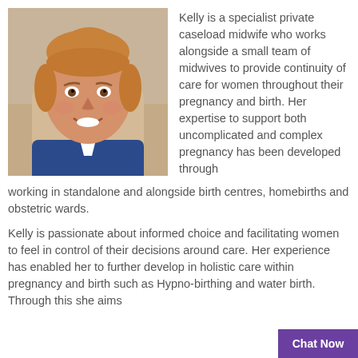[Figure (photo): Headshot photo of Kelly, a woman with blonde hair pulled back, smiling, wearing a blue uniform top, seated against a neutral background.]
Kelly is a specialist private caseload midwife who works alongside a small team of midwives to provide continuity of care for women throughout their pregnancy and birth. Her expertise to support both uncomplicated and complex pregnancy has been developed through working in standalone and alongside birth centres, homebirths and obstetric wards.
Kelly is passionate about informed choice and facilitating women to feel in control of their decisions around care. Her experience has enabled her to further develop in holistic care within pregnancy and birth such as Hypno-birthing and water birth. Through this she aims
Chat Now